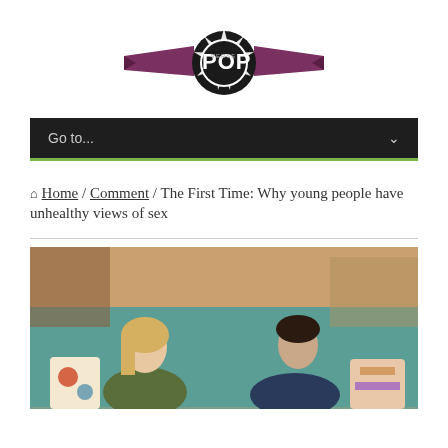PopVerse logo
Go to...
Home / Comment / The First Time: Why young people have unhealthy views of sex
[Figure (photo): Two young people, a blonde woman and a dark-haired man, sitting on a couch looking at each other, with colorful pillows and a teal blanket behind them.]